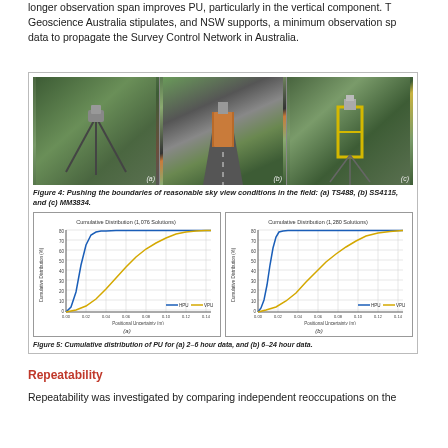longer observation span improves PU, particularly in the vertical component. Geoscience Australia stipulates, and NSW supports, a minimum observation span data to propagate the Survey Control Network in Australia.
[Figure (photo): Three field photos showing GNSS survey equipment in bushland: (a) TS488 with tripod in scrub, (b) SS4115 with orange equipment frame on road, (c) MM3834 with yellow-framed equipment in trees]
Figure 4: Pushing the boundaries of reasonable sky view conditions in the field: (a) TS488, (b) SS4115, and (c) MM3834.
[Figure (line-chart): Cumulative distribution chart (a) showing HPU and VPU lines for 2-6 hour data, x-axis 0.00 to 0.16, y-axis 0 to 100]
[Figure (line-chart): Cumulative distribution chart (b) showing HPU and VPU lines for 6-24 hour data, x-axis 0.00 to 0.16, y-axis 0 to 100]
Figure 5: Cumulative distribution of PU for (a) 2-6 hour data, and (b) 6-24 hour data.
Repeatability
Repeatability was investigated by comparing independent reoccupations on the